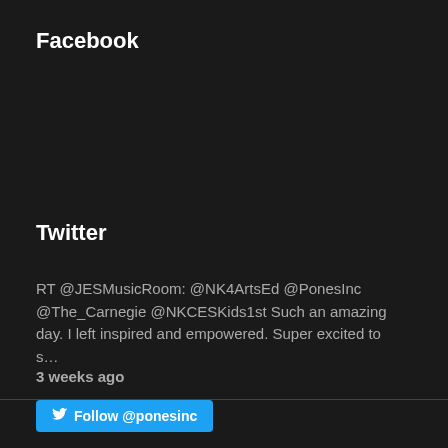Facebook
Twitter
RT @JESMusicRoom: @NK4ArtsEd @PonesInc @The_Carnegie @NKCESKids1st Such an amazing day. I left inspired and empowered. Super excited to s…
3 weeks ago
Follow @ponesinc